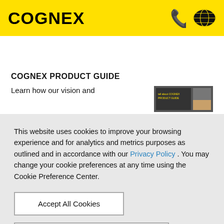[Figure (logo): Cognex logo in black bold text on yellow background with phone icon and globe/world map icon]
[Figure (other): Black navigation bar with hamburger menu icon on left, user and search icons on right]
COGNEX PRODUCT GUIDE
Learn how our vision and
[Figure (photo): Product guide booklet cover image partially visible]
This website uses cookies to improve your browsing experience and for analytics and metrics purposes as outlined and in accordance with our Privacy Policy . You may change your cookie preferences at any time using the Cookie Preference Center.
Accept All Cookies
Cookie Preference Center